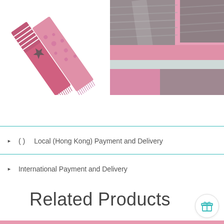[Figure (photo): Pink scarf with star pattern and fringe, shown unfolded diagonally on white background]
[Figure (photo): Close-up texture of pink and grey knit fabric with metallic shimmer]
( )   Local (Hong Kong) Payment and Delivery
International Payment and Delivery
Related Products